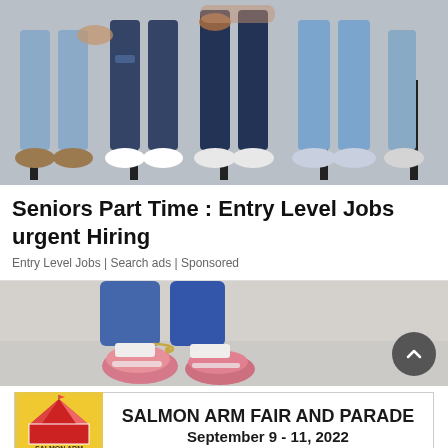[Figure (photo): Four people sitting in chairs in a row, legs and lower bodies visible, wearing jeans and various shoes, waiting room scene]
Seniors Part Time : Entry Level Jobs urgent Hiring
Entry Level Jobs | Search ads | Sponsored
[Figure (photo): Close-up of a person's feet and ankles wearing pink shoes/sneakers and an anklet, with jeans, against a light background]
[Figure (logo): Salmon Arm Fair and Parade advertisement banner with logo showing circus tent and animals, text: SALMON ARM FAIR AND PARADE September 9 - 11, 2022]